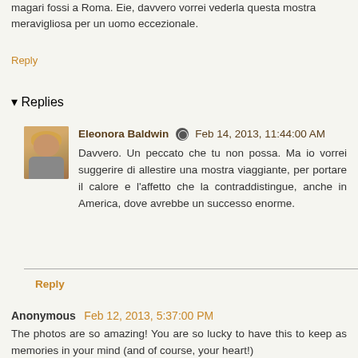magari fossi a Roma. Eie, davvero vorrei vederla questa mostra meravigliosa per un uomo eccezionale.
Reply
▾ Replies
Eleonora Baldwin  Feb 14, 2013, 11:44:00 AM
Davvero. Un peccato che tu non possa. Ma io vorrei suggerire di allestire una mostra viaggiante, per portare il calore e l'affetto che la contraddistingue, anche in America, dove avrebbe un successo enorme.
Reply
Anonymous  Feb 12, 2013, 5:37:00 PM
The photos are so amazing! You are so lucky to have this to keep as memories in your mind (and of course, your heart!)